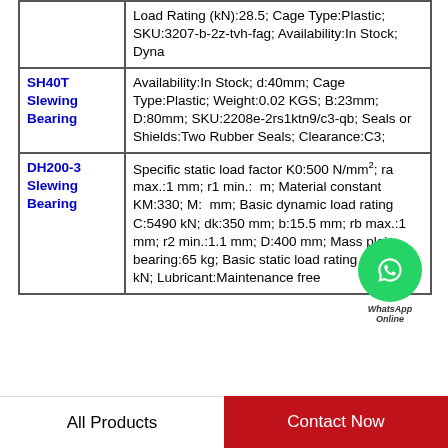| Product | Specifications |
| --- | --- |
|  | Load Rating (kN):28.5; Cage Type:Plastic; SKU:3207-b-2z-tvh-fag; Availability:In Stock; Dyna |
| SH40T Slewing Bearing | Availability:In Stock; d:40mm; Cage Type:Plastic; Weight:0.02 KGS; B:23mm; D:80mm; SKU:2208e-2rs1ktn9/c3-qb; Seals or Shields:Two Rubber Seals; Clearance:C3; |
| DH200-3 Slewing Bearing | Specific static load factor K0:500 N/mm²; ra max.:1 mm; r1 min.: mm; Material constant KM:330; M: mm; Basic dynamic load rating C:5490 kN; dk:350 mm; b:15.5 mm; rb max.:1 mm; r2 min.:1.1 mm; D:400 mm; Mass plain bearing:65 kg; Basic static load rating C0:18000 kN; Lubricant:Maintenance free |
All Products
Contact Now